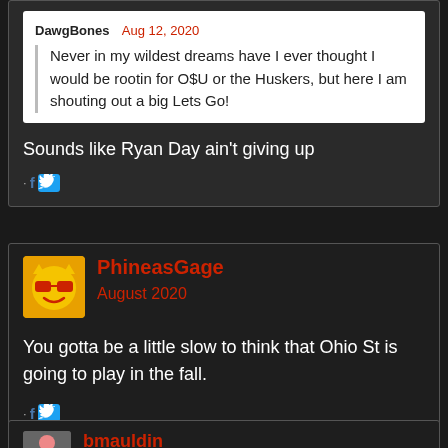DawgBones  Aug 12, 2020
Never in my wildest dreams have I ever thought I would be rootin for O$U or the Huskers, but here I am shouting out a big Lets Go!
Sounds like Ryan Day ain't giving up
PhineasGage
August 2020
You gotta be a little slow to think that Ohio St is going to play in the fall.
bmauldin
August 2020